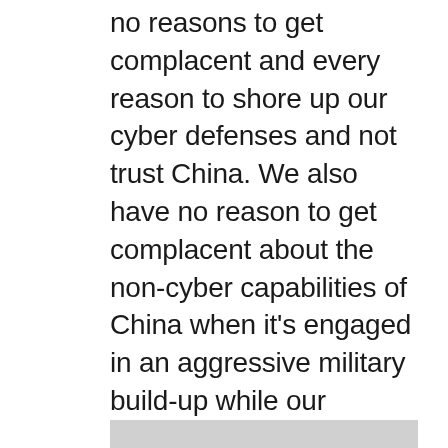no reasons to get complacent and every reason to shore up our cyber defenses and not trust China. We also have no reason to get complacent about the non-cyber capabilities of China when it's engaged in an aggressive military build-up while our military leaders seem more concerned with promoting transgender rights, driving patriotic conservatives (who are traditionally the backbone of the military) out of the ranks, and planning how to defend America from its #1 threat: straight, white Trump voters.